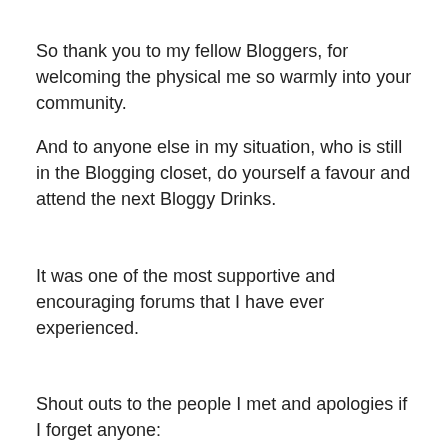So thank you to my fellow Bloggers, for welcoming the physical me so warmly into your community.
And to anyone else in my situation, who is still in the Blogging closet, do yourself a favour and attend the next Bloggy Drinks.
It was one of the most supportive and encouraging forums that I have ever experienced.
Shout outs to the people I met and apologies if I forget anyone: